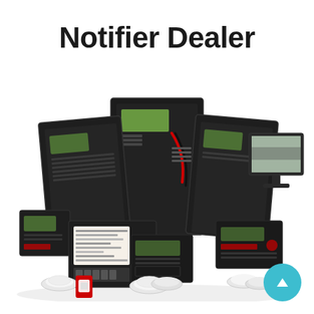Notifier Dealer
[Figure (photo): A collection of Notifier brand fire alarm control panels, annunciators, addressable modules, smoke detectors, pull stations, and a computer monitor displaying fire alarm software — arranged together in a product group shot on a white background.]